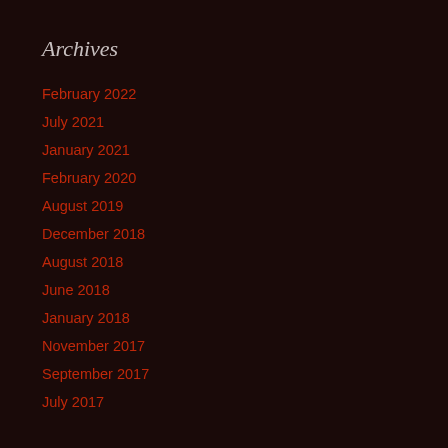Archives
February 2022
July 2021
January 2021
February 2020
August 2019
December 2018
August 2018
June 2018
January 2018
November 2017
September 2017
July 2017